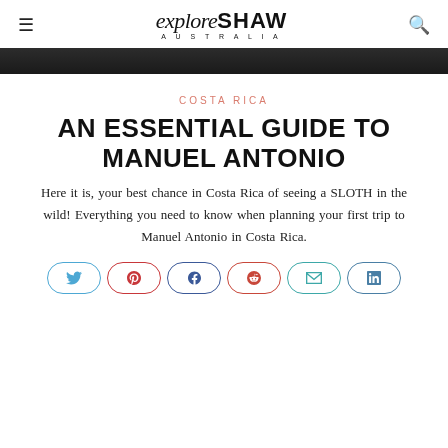exploreSHAW AUSTRALIA
[Figure (photo): Dark image strip at the top of the article]
COSTA RICA
AN ESSENTIAL GUIDE TO MANUEL ANTONIO
Here it is, your best chance in Costa Rica of seeing a SLOTH in the wild! Everything you need to know when planning your first trip to Manuel Antonio in Costa Rica.
[Figure (infographic): Social sharing buttons row: Twitter, Pinterest, Facebook, Reddit, Email, LinkedIn]